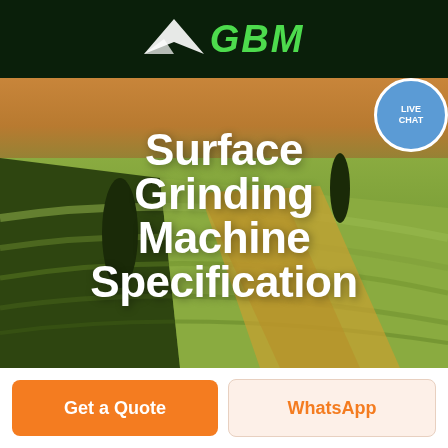[Figure (logo): GBM logo with green text and white arrow/wing icon on dark green background]
[Figure (screenshot): Green navigation bar with hamburger menu icon on the right]
[Figure (photo): Aerial view of agricultural fields with curved green and yellow-brown crop rows, two dark trees visible, warm golden light]
Surface Grinding Machine Specification
[Figure (infographic): Live Chat bubble icon in blue, positioned top-right over nav bar]
Get a Quote
WhatsApp